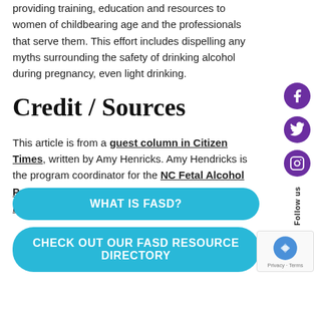providing training, education and resources to women of childbearing age and the professionals that serve them. This effort includes dispelling any myths surrounding the safety of drinking alcohol during pregnancy, even light drinking.
Credit / Sources
This article is from a guest column in Citizen Times, written by Amy Henricks. Amy Hendricks is the program coordinator for the NC Fetal Alcohol Prevention Program (FASDinNC) at Mission Fullerton Genetics Center.
WHAT IS FASD?
CHECK OUT OUR FASD RESOURCE DIRECTORY